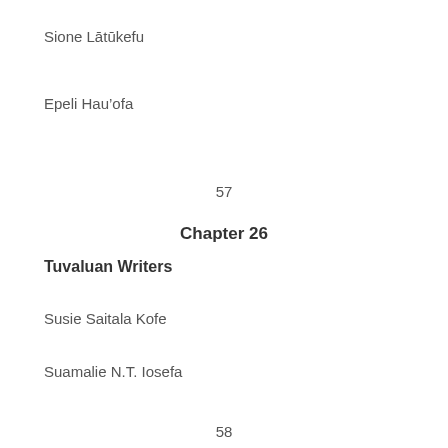Sione Lātūkefu
Epeli Hau’ofa
57
Chapter 26
Tuvaluan Writers
Susie Saitala Kofe
Suamalie N.T. Iosefa
58
Chapter 27